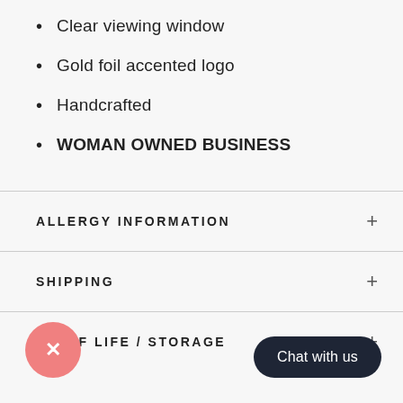Clear viewing window
Gold foil accented logo
Handcrafted
WOMAN OWNED BUSINESS
ALLERGY INFORMATION
SHIPPING
SHELF LIFE / STORAGE